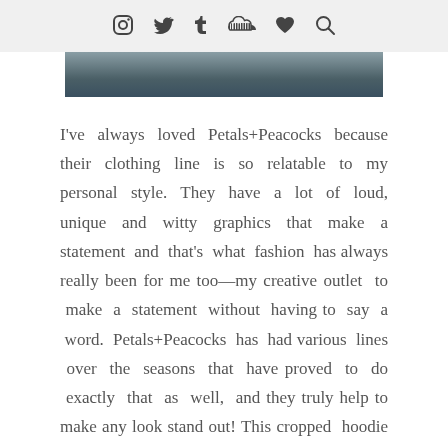[icons: instagram, twitter, tumblr, soundcloud, heart, search]
[Figure (photo): Partial photo strip showing outdoor scene with red accent element, cropped at top of page]
I've always loved Petals+Peacocks because their clothing line is so relatable to my personal style. They have a lot of loud, unique and witty graphics that make a statement and that's what fashion has always really been for me too—my creative outlet to make a statement without having to say a word. Petals+Peacocks has had various lines over the seasons that have proved to do exactly that as well, and they truly help to make any look stand out! This cropped hoodie is one of my favorites because not only is it cute and comfy, but it's also versatile and timeless. Who doesn't